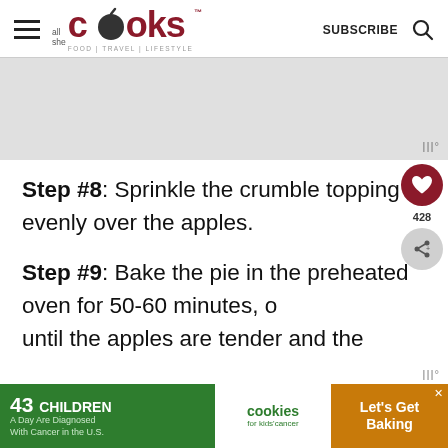all she cooks — FOOD | TRAVEL | LIFESTYLE — SUBSCRIBE
[Figure (screenshot): Gray advertisement placeholder rectangle]
Step #8: Sprinkle the crumble topping evenly over the apples.
Step #9: Bake the pie in the preheated oven for 50-60 minutes, until the apples are tender and the
[Figure (infographic): Bottom advertisement banner: 43 CHILDREN A Day Are Diagnosed With Cancer in the U.S. — cookies for kids' cancer — Let's Get Baking]